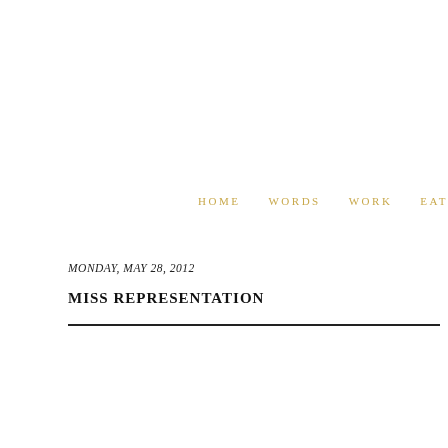HOME   WORDS   WORK   EAT
MONDAY, MAY 28, 2012
MISS REPRESENTATION